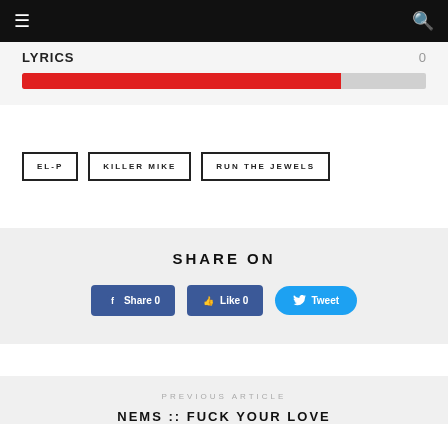≡  [navigation bar]  🔍
Lyrics  0
[Figure (infographic): Red progress bar approximately 79% filled on a gray background]
EL-P
KILLER MIKE
RUN THE JEWELS
SHARE ON
Share 0  Like 0  Tweet
PREVIOUS ARTICLE
NEMS :: FUCK YOUR LOVE